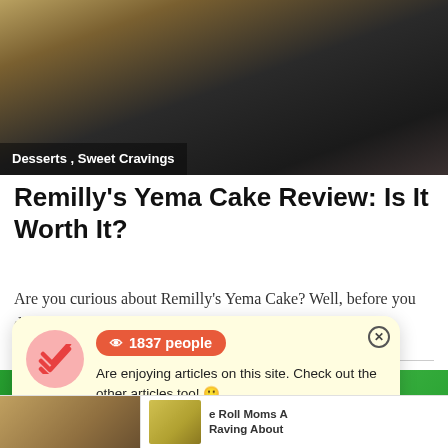[Figure (photo): Close-up photo of a dessert (cake) on a dark tray, with a text overlay reading 'Desserts, Sweet Cravings']
Remilly's Yema Cake Review: Is It Worth It?
Are you curious about Remilly's Yema Cake? Well, before you drop by one of...
[Figure (photo): Photo of a green-colored sign or banner with large white letters, partially visible showing 'A'S' and 'Y']
1837 people
Are enjoying articles on this site. Check out the other articles too! 
Verified by Provely